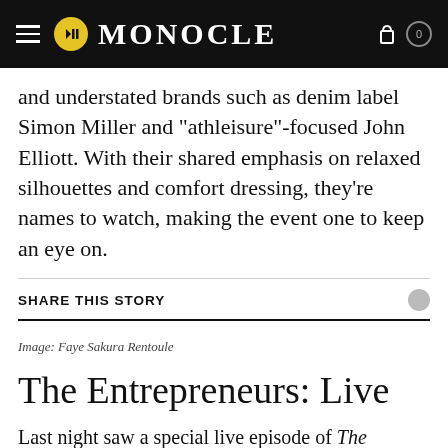MONOCLE
and understated brands such as denim label Simon Miller and "athleisure"-focused John Elliott. With their shared emphasis on relaxed silhouettes and comfort dressing, they're names to watch, making the event one to keep an eye on.
SHARE THIS STORY
Image: Faye Sakura Rentoule
The Entrepreneurs: Live
Last night saw a special live episode of The